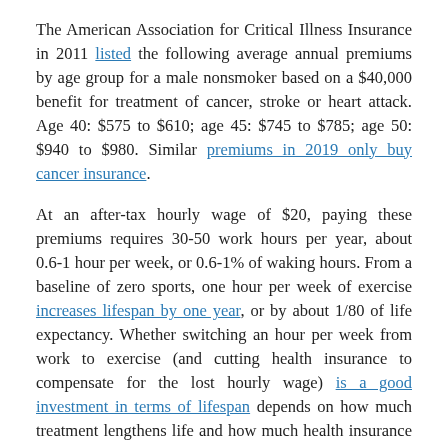The American Association for Critical Illness Insurance in 2011 listed the following average annual premiums by age group for a male nonsmoker based on a $40,000 benefit for treatment of cancer, stroke or heart attack. Age 40: $575 to $610; age 45: $745 to $785; age 50: $940 to $980. Similar premiums in 2019 only buy cancer insurance.
At an after-tax hourly wage of $20, paying these premiums requires 30-50 work hours per year, about 0.6-1 hour per week, or 0.6-1% of waking hours. From a baseline of zero sports, one hour per week of exercise increases lifespan by one year, or by about 1/80 of life expectancy. Whether switching an hour per week from work to exercise (and cutting health insurance to compensate for the lost hourly wage) is a good investment in terms of lifespan depends on how much treatment lengthens life and how much health insurance increases the probability or quality of treatment. Data is difficult to find on both the effect of treatment on lifespan and the effect of health insurance on treatment.